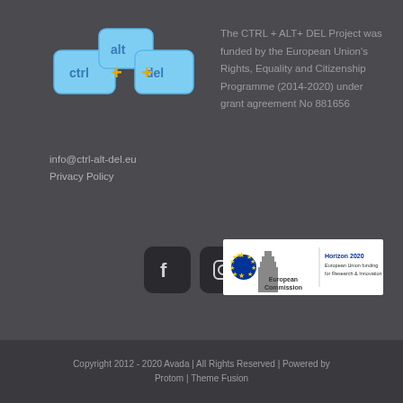[Figure (logo): CTRL + ALT + DEL project logo showing keyboard keys labeled ctrl, alt, del with yellow plus signs]
info@ctrl-alt-del.eu
Privacy Policy
The CTRL + ALT+ DEL Project was funded by the European Union's Rights, Equality and Citizenship Programme (2014-2020) under grant agreement No 881656
[Figure (logo): Facebook icon - white f on dark rounded square]
[Figure (logo): Instagram icon - white camera outline on dark rounded square]
[Figure (logo): European Commission Horizon 2020 banner - EU flag logo with text European Commission and Horizon 2020 European Union funding for Research & Innovation]
Copyright 2012 - 2020 Avada | All Rights Reserved | Powered by Protom | Theme Fusion